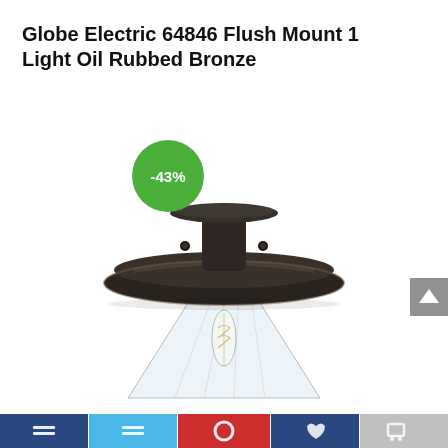Globe Electric 64846 Flush Mount 1 Light Oil Rubbed Bronze
[Figure (photo): Product photo of Globe Electric 64846 Flush Mount 1 Light Oil Rubbed Bronze ceiling light fixture. Shows a dark oil-rubbed bronze disc-shaped shade/canopy with a clear glass conical shade and Edison-style bulb visible beneath. A green circular badge with -43% discount is overlaid in the upper left of the image.]
[Figure (infographic): Bottom navigation bar with five sections: dark blue, light blue, red, dark blue, and gray, each containing small white icons.]